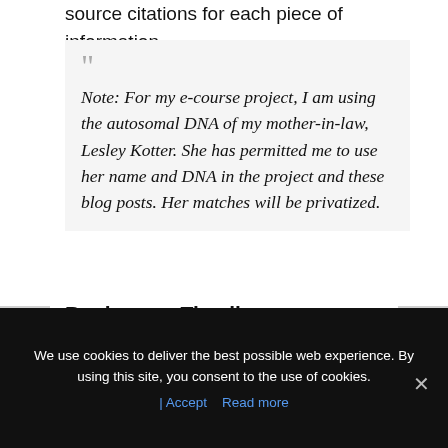source citations for each piece of information.
Note: For my e-course project, I am using the autosomal DNA of my mother-in-law, Lesley Kotter. She has permitted me to use her name and DNA in the project and these blog posts. Her matches will be privatized.
Begin your Timeline
Before tackling all the complexities of adding DNA to a genealogy project, it is important to remember that you are still doing genealogy and traditional research should still be conducted. As that is the case, you should create a timeline by gathering
We use cookies to deliver the best possible web experience. By using this site, you consent to the use of cookies.
| Accept   Read more